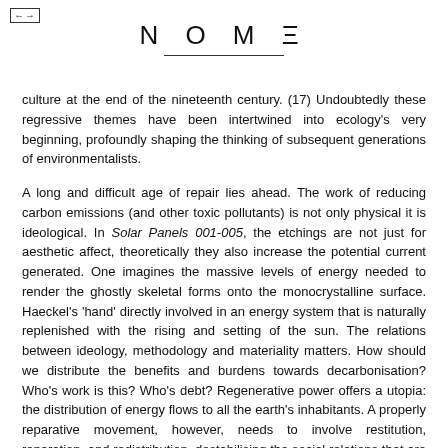NOME
culture at the end of the nineteenth century. (17) Undoubtedly these regressive themes have been intertwined into ecology's very beginning, profoundly shaping the thinking of subsequent generations of environmentalists.
A long and difficult age of repair lies ahead. The work of reducing carbon emissions (and other toxic pollutants) is not only physical it is ideological. In Solar Panels 001-005, the etchings are not just for aesthetic affect, theoretically they also increase the potential current generated. One imagines the massive levels of energy needed to render the ghostly skeletal forms onto the monocrystalline surface. Haeckel's 'hand' directly involved in an energy system that is naturally replenished with the rising and setting of the sun. The relations between ideology, methodology and materiality matters. How should we distribute the benefits and burdens towards decarbonisation? Who's work is this? Who's debt? Regenerative power offers a utopia: the distribution of energy flows to all the earth's inhabitants. A properly reparative movement, however, needs to involve restitution, reparation, and redistribution, destabilising the social relations that are currently reproducing conditions for green grabbing, green colonialism, and eco-fascism.